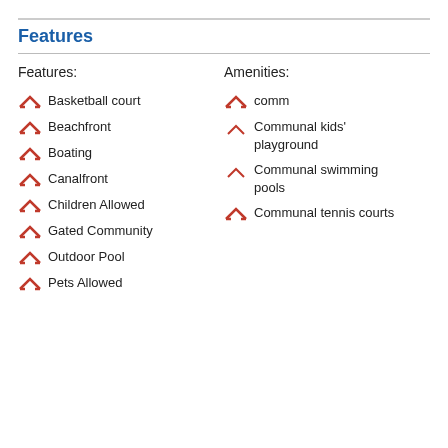Features
Features:
Amenities:
Basketball court
comm
Beachfront
Communal kids' playground
Boating
Communal swimming pools
Canalfront
Communal tennis courts
Children Allowed
Gated Community
Outdoor Pool
Pets Allowed